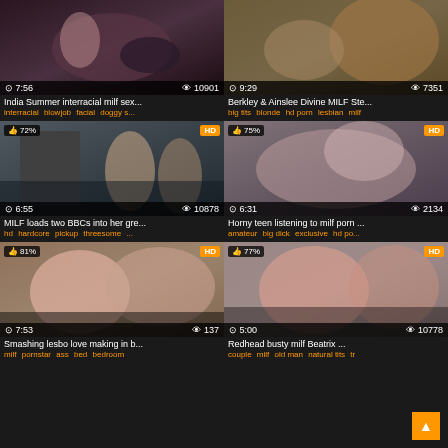[Figure (screenshot): Video thumbnail grid showing 6 adult video thumbnails in a 2-column layout with titles, tags, view counts, durations, and HD/quality badges]
India Summer interracial milf sex...
interracial blowjob facial doggy s...
Berkley & Ainslee Divine MILF Ste...
big tits blonde hd porn lesbian milf
MILF loads two BBCs into her gre...
hd hardcore pickup threesome ...
Horny teen listening to milf porn ...
amateur big dick exclusive hd po...
Smashing lesbo love making in b...
milf pornstar ass bed bedroom
Redhead busty milf Beatrix ...
couple milf old man natural tits tr